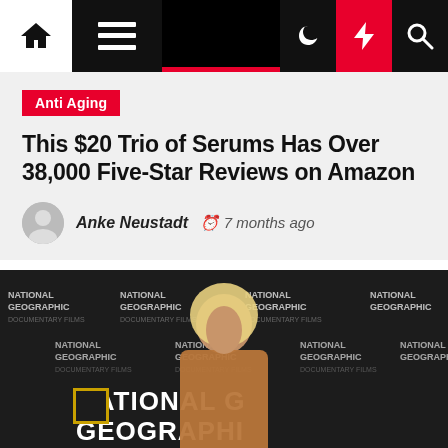Navigation bar with home, menu, dark mode, lightning, and search icons
Anti Aging
This $20 Trio of Serums Has Over 38,000 Five-Star Reviews on Amazon
Anke Neustadt  7 months ago
[Figure (photo): A blonde woman in a tan blazer and coat posing at a National Geographic Documentary Films event backdrop]